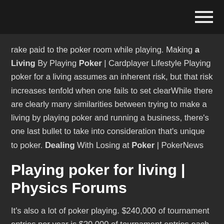[hamburger menu icon]
rake paid to the poker room while playing. Making a Living By Playing Poker | Cardplayer Lifestyle Playing poker for a living assumes an inherent risk, but that risk increases tenfold when one fails to set clearWhile there are clearly many similarities between trying to make a living by playing poker and running a business, there’s one last bullet to take into consideration that’s unique to poker. Dealing With Losing at Poker | PokerNews
Playing poker for living | Physics Forums
It’s also a lot of poker playing. $240,000 of tournament entries per year is $20,000 of tournament entries each